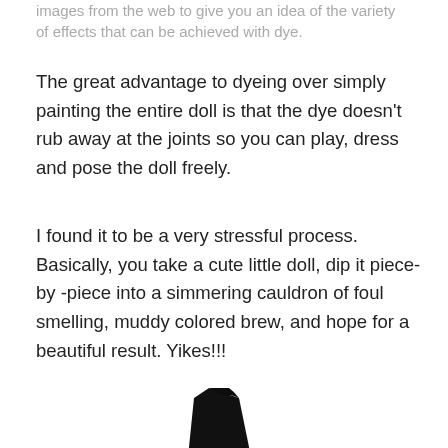images from the web to give you an idea of the variety of effects that can be achieved with dye.
The great advantage to dyeing over simply painting the entire doll is that the dye doesn't rub away at the joints so you can play, dress and pose the doll freely.
I found it to be a very stressful process. Basically, you take a cute little doll, dip it piece-by -piece into a simmering cauldron of foul smelling, muddy colored brew, and hope for a beautiful result. Yikes!!!
[Figure (illustration): Illustration of a green-skinned witch with a black pointy hat, hunched over a cauldron with a sinister smile and glowing green eyes.]